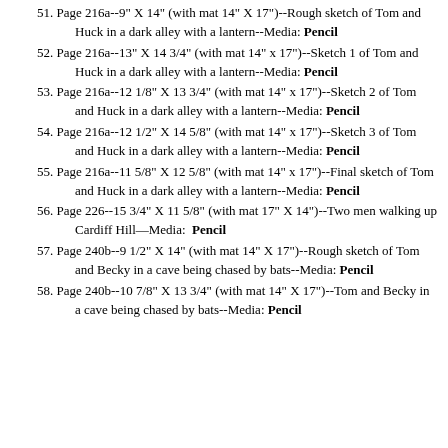51. Page 216a--9" X 14" (with mat 14" X 17")--Rough sketch of Tom and Huck in a dark alley with a lantern--Media: Pencil
52. Page 216a--13" X 14 3/4" (with mat 14" x 17")--Sketch 1 of Tom and Huck in a dark alley with a lantern--Media: Pencil
53. Page 216a--12 1/8" X 13 3/4" (with mat 14" x 17")--Sketch 2 of Tom and Huck in a dark alley with a lantern--Media: Pencil
54. Page 216a--12 1/2" X 14 5/8" (with mat 14" x 17")--Sketch 3 of Tom and Huck in a dark alley with a lantern--Media: Pencil
55. Page 216a--11 5/8" X 12 5/8" (with mat 14" x 17")--Final sketch of Tom and Huck in a dark alley with a lantern--Media: Pencil
56. Page 226--15 3/4" X 11 5/8" (with mat 17" X 14")--Two men walking up Cardiff Hill—Media:  Pencil
57. Page 240b--9 1/2" X 14" (with mat 14" X 17")--Rough sketch of Tom and Becky in a cave being chased by bats--Media: Pencil
58. Page 240b--10 7/8" X 13 3/4" (with mat 14" X 17")--Tom and Becky in a cave being chased by bats--Media: Pencil